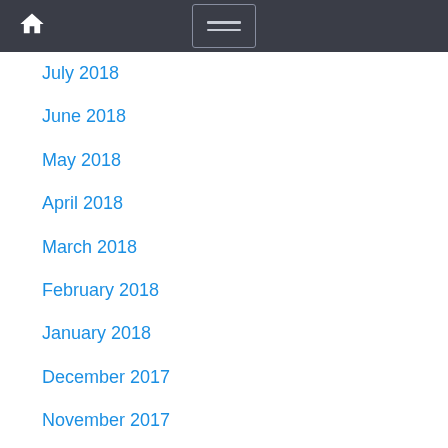Home | Navigation menu
July 2018
June 2018
May 2018
April 2018
March 2018
February 2018
January 2018
December 2017
November 2017
October 2017
September 2017
August 2017
July 2017
June 2017